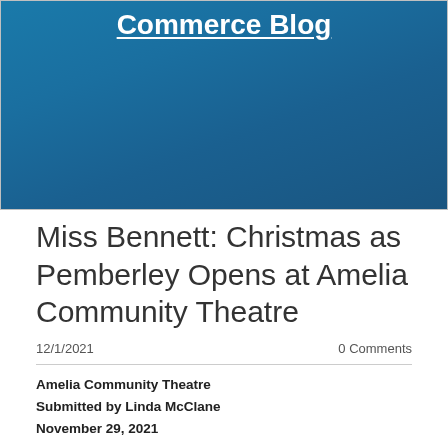Commerce Blog
Miss Bennett: Christmas as Pemberley Opens at Amelia Community Theatre
12/1/2021   0 Comments
Amelia Community Theatre
Submitted by Linda McClane
November 29, 2021